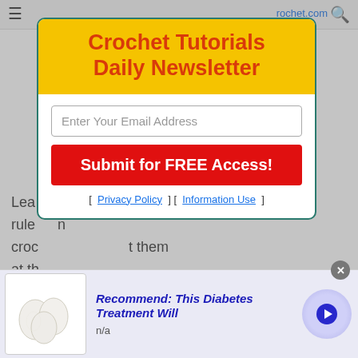≡   rochet.com   🔍
[Figure (screenshot): Newsletter signup modal overlay with yellow header reading 'Crochet Tutorials Daily Newsletter', email input field, red 'Submit for FREE Access!' button, and Privacy Policy / Information Use links. Modal has teal border on white background.]
Lea... tips and rule... in croc... t them at th... you go with a counter, or
[Figure (screenshot): Darkened video thumbnail showing a library/bookshelf scene with a play button icon and mute icon overlay.]
On this page, there are vi... show you exactly how to... for even beginner croche... more, once you learn this basic and necessary crochet skill.
[Figure (screenshot): Advertisement bar at bottom: image of white eggs, bold blue text 'Recommend: This Diabetes Treatment Will', subtext 'n/a', close X button, and a purple circular arrow button.]